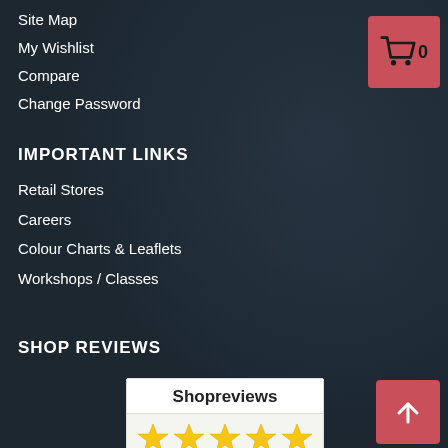Site Map
My Wishlist
Compare
Change Password
[Figure (infographic): Shopping cart icon with count 0 on red/pink square button]
IMPORTANT LINKS
Retail Stores
Careers
Colour Charts & Leaflets
Workshops / Classes
SHOP REVIEWS
[Figure (screenshot): Shopreviews widget showing title 'Shopreviews' and 5 gold star rating icons]
[Figure (infographic): Back to top arrow button on red/pink square]